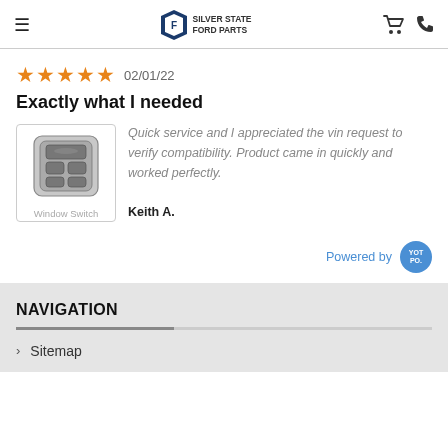Silver State Ford Parts
★★★★★ 02/01/22
Exactly what I needed
[Figure (photo): Photo of a car window switch (door master control panel switch)]
Window Switch
Quick service and I appreciated the vin request to verify compatibility. Product came in quickly and worked perfectly.
Keith A.
Powered by YOTPO
NAVIGATION
Sitemap